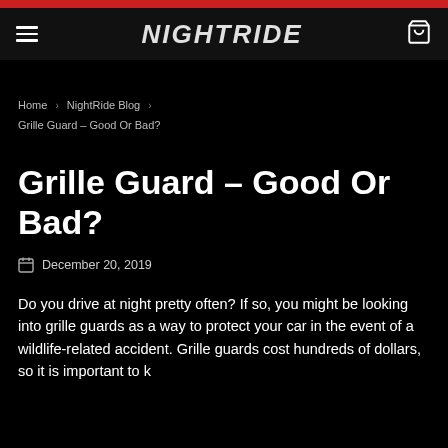NIGHTRIDE
Home > NightRide Blog > Grille Guard – Good Or Bad?
Grille Guard – Good Or Bad?
December 20, 2019
Do you drive at night pretty often? If so, you might be looking into grille guards as a way to protect your car in the event of a wildlife-related accident. Grille guards cost hundreds of dollars, so it is important to k…